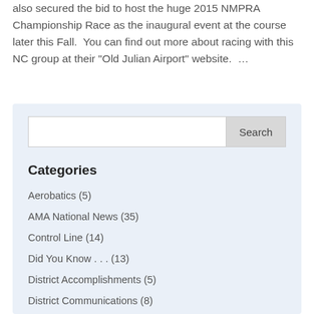also secured the bid to host the huge 2015 NMPRA Championship Race as the inaugural event at the course later this Fall.  You can find out more about racing with this NC group at their "Old Julian Airport" website.  …
Categories
Aerobatics (5)
AMA National News (35)
Control Line (14)
Did You Know . . . (13)
District Accomplishments (5)
District Communications (8)